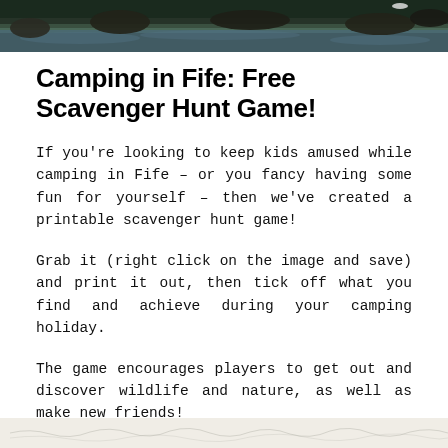[Figure (photo): Top portion of an outdoor nature/water scene photo, showing rocks and water]
Camping in Fife: Free Scavenger Hunt Game!
If you’re looking to keep kids amused while camping in Fife – or you fancy having some fun for yourself – then we’ve created a printable scavenger hunt game!
Grab it (right click on the image and save) and print it out, then tick off what you find and achieve during your camping holiday.
The game encourages players to get out and discover wildlife and nature, as well as make new friends!
[Figure (photo): Bottom portion of a document or image, partially visible at the bottom of the page]